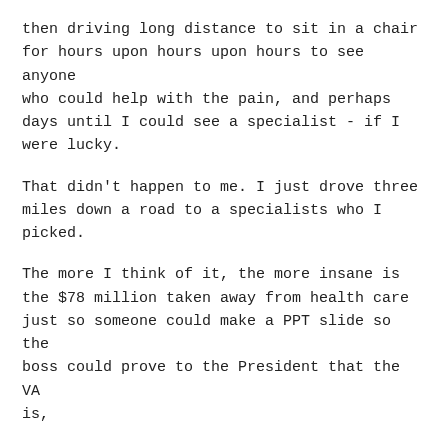then driving long distance to sit in a chair for hours upon hours upon hours to see anyone who could help with the pain, and perhaps days until I could see a specialist - if I were lucky.
That didn't happen to me. I just drove three miles down a road to a specialists who I picked.
The more I think of it, the more insane is the $78 million taken away from health care just so someone could make a PPT slide so the boss could prove to the President that the VA is,
"...marching forward with the President's initiative to 'green' the Federal government,..."
Since when did an organization such as this get in the iffy energy advocacy racket?